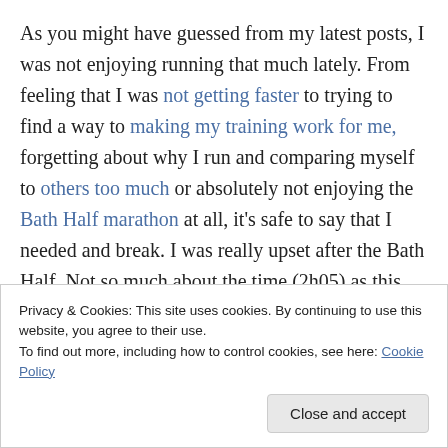As you might have guessed from my latest posts, I was not enjoying running that much lately. From feeling that I was not getting faster to trying to find a way to making my training work for me, forgetting about why I run and comparing myself to others too much or absolutely not enjoying the Bath Half marathon at all, it's safe to say that I needed and break. I was really upset after the Bath Half. Not so much about the time (2h05) as this race was not supposed to be about time. During my training, I tried really hard to work on my feelings and forget about the
Privacy & Cookies: This site uses cookies. By continuing to use this website, you agree to their use. To find out more, including how to control cookies, see here: Cookie Policy